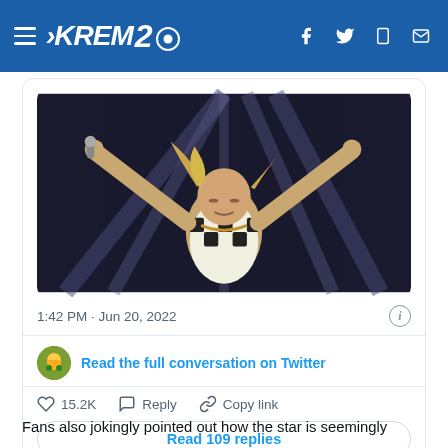KREM2
[Figure (screenshot): Tweet card showing a photo of a performer on stage with arms raised wide, wearing a black and white diamond-pattern outfit, with stage lighting in the background. Tweet timestamp: 1:42 PM · Jun 20, 2022. Link to read full conversation on Twitter. 15.2K likes, Reply, Copy link actions. Read 109 replies button.]
Fans also jokingly pointed out how the star is seemingly